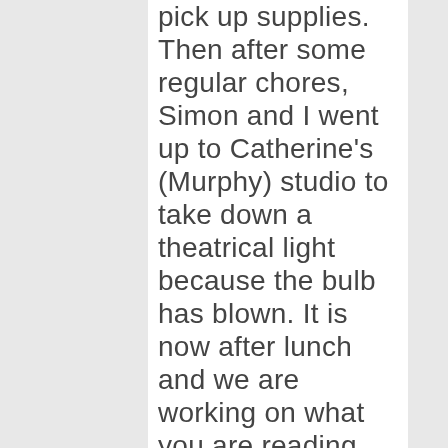pick up supplies. Then after some regular chores, Simon and I went up to Catherine's (Murphy) studio to take down a theatrical light because the bulb has blown. It is now after lunch and we are working on what you are reading. Then Simon and I will try to do something for Catherine. Then we will